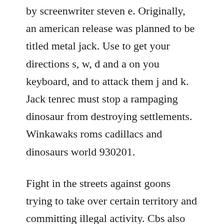by screenwriter steven e. Originally, an american release was planned to be titled metal jack. Use to get your directions s, w, d and a on you keyboard, and to attack them j and k. Jack tenrec must stop a rampaging dinosaur from destroying settlements. Winkawaks roms cadillacs and dinosaurs world 930201.
Fight in the streets against goons trying to take over certain territory and committing illegal activity. Cbs also had the winter olympics that year and often bumped cadillacs and dinosaurs. A anidalistings the title and ei